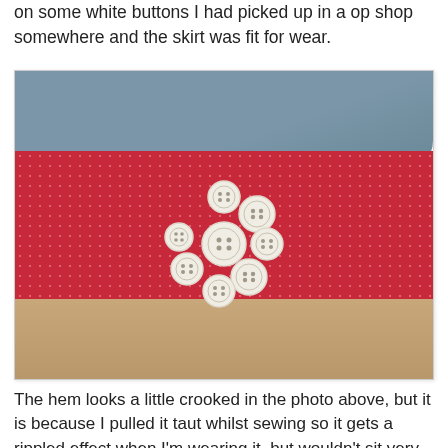on some white buttons I had picked up in a op shop somewhere and the skirt was fit for wear.
[Figure (photo): Close-up photo of a skirt laid flat on a wooden surface. The skirt has a blue-grey denim fabric with a red polka-dot band across the middle. A cluster of white buttons is arranged in a flower pattern on the red band.]
The hem looks a little crooked in the photo above, but it is because I pulled it taut whilst sewing so it gets a rippled effect when I'm wearing it, but wouldn't sit very flat for this photo.
So now...